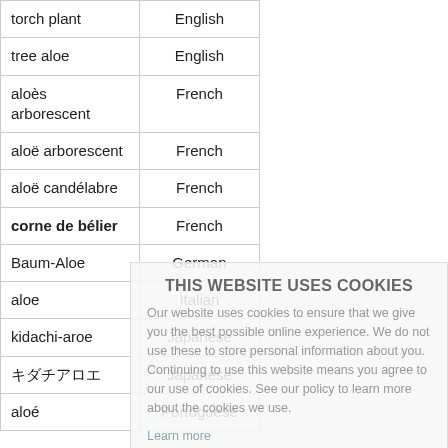| Name | Language |
| --- | --- |
| torch plant | English |
| tree aloe | English |
| aloès arborescent | French |
| aloë arborescent | French |
| aloë candélabre | French |
| corne de bélier | French |
| Baum-Aloe | German |
| aloe | Italian |
| kidachi-aroe | Japanese |
| キダチアロエ | Japanese |
| aloé | Portuguese |
THIS WEBSITE USES COOKIES

Our website uses cookies to ensure that we give you the best possible online experience. We do not use these to store personal information about you. Continuing to use this website means you agree to our use of cookies. See our policy to learn more about the cookies we use.

Learn more

Accept